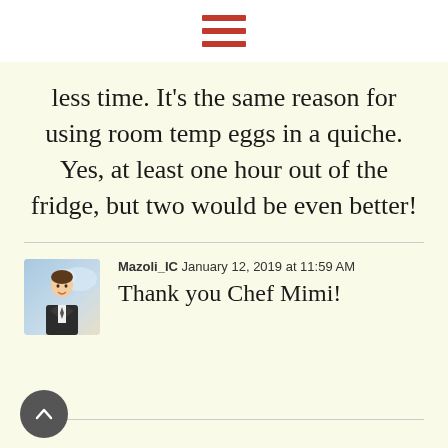☰ (hamburger menu icon)
less time. It's the same reason for using room temp eggs in a quiche. Yes, at least one hour out of the fridge, but two would be even better!
Mazoli_IC  January 12, 2019 at 11:59 AM
Thank you Chef Mimi!